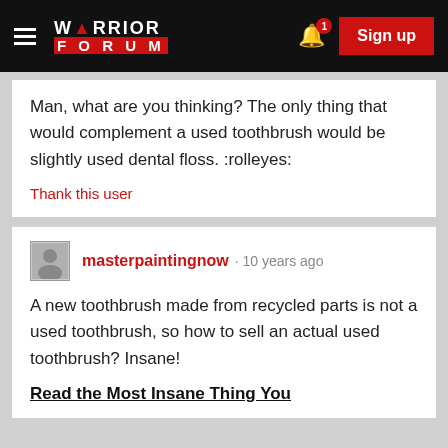Warrior Forum — Sign up
Man, what are you thinking? The only thing that would complement a used toothbrush would be slightly used dental floss. :rolleyes:
Thank this user
masterpaintingnow · 10 years ago
A new toothbrush made from recycled parts is not a used toothbrush, so how to sell an actual used toothbrush? Insane!
Read the Most Insane Thing You